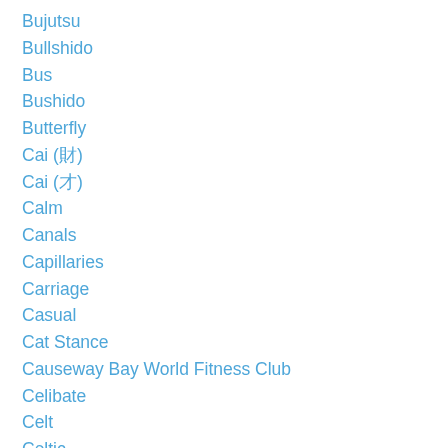Bujutsu
Bullshido
Bus
Bushido
Butterfly
Cai (財)
Cai (才)
Calm
Canals
Capillaries
Carriage
Casual
Cat Stance
Causeway Bay World Fitness Club
Celibate
Celt
Celtic
Ceng (層)
Centre
Centred